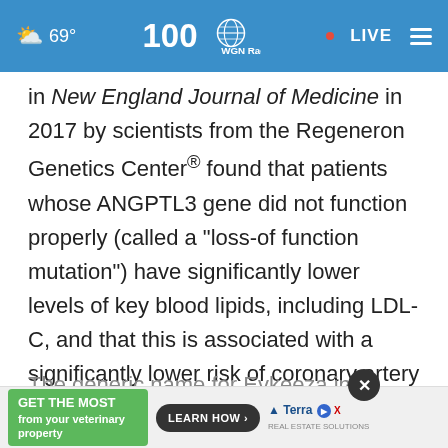69° WGN Radio LIVE
in New England Journal of Medicine in 2017 by scientists from the Regeneron Genetics Center® found that patients whose ANGPTL3 gene did not function properly (called a "loss-of function mutation") have significantly lower levels of key blood lipids, including LDL-C, and that this is associated with a significantly lower risk of coronary artery disease.
The generic name for Evkeeza in its approved U.S. i... gnb the official... associated...